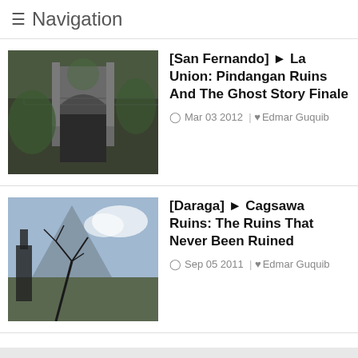≡ Navigation
[San Fernando] ► La Union: Pindangan Ruins And The Ghost Story Finale
Mar 03 2012  |  Edmar Guquib
[Daraga] ► Cagsawa Ruins: The Ruins That Never Been Ruined
Sep 05 2011  |  Edmar Guquib
RECENT STORIES
[Figure (photo): Outdoor landscape photo strip showing trees and greenery]
16 SHARES